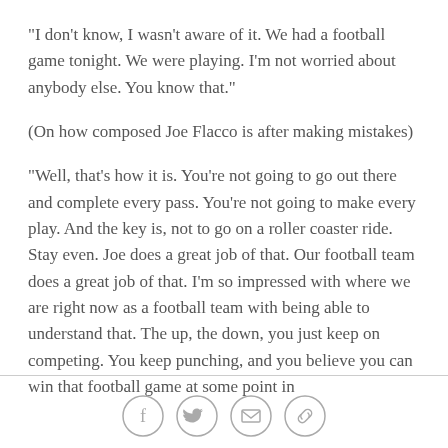"I don't know, I wasn't aware of it. We had a football game tonight. We were playing. I'm not worried about anybody else. You know that."
(On how composed Joe Flacco is after making mistakes)
"Well, that's how it is. You're not going to go out there and complete every pass. You're not going to make every play. And the key is, not to go on a roller coaster ride. Stay even. Joe does a great job of that. Our football team does a great job of that. I'm so impressed with where we are right now as a football team with being able to understand that. The up, the down, you just keep on competing. You keep punching, and you believe you can win that football game at some point in
[Figure (infographic): Social media share icons: Facebook (f), Twitter (bird), Email (envelope), Link (chain link) — four circular outlined buttons in a row]